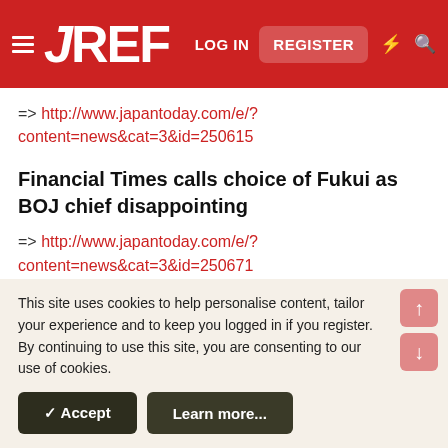JREF — LOG IN | REGISTER
=> http://www.japantoday.com/e/?content=news&cat=3&id=250615
Financial Times calls choice of Fukui as BOJ chief disappointing
=> http://www.japantoday.com/e/?content=news&cat=3&id=250671
Fukui choice another failure of Japan's leadership: H.K. paper
This site uses cookies to help personalise content, tailor your experience and to keep you logged in if you register.
By continuing to use this site, you are consenting to our use of cookies.